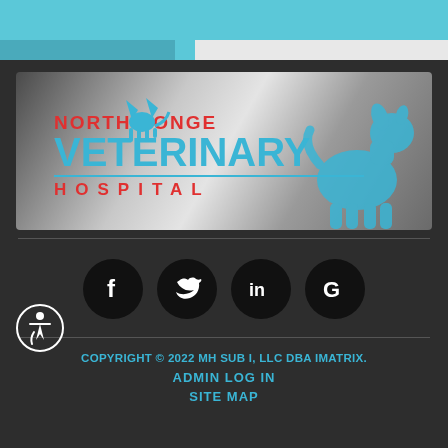[Figure (logo): North Yonge Veterinary Hospital logo with blue dog and cat silhouettes, teal and red text on gradient background]
[Figure (infographic): Social media icons row: Facebook, Twitter, LinkedIn, Google on dark circular backgrounds]
COPYRIGHT © 2022 MH SUB I, LLC DBA IMATRIX.
ADMIN LOG IN
SITE MAP